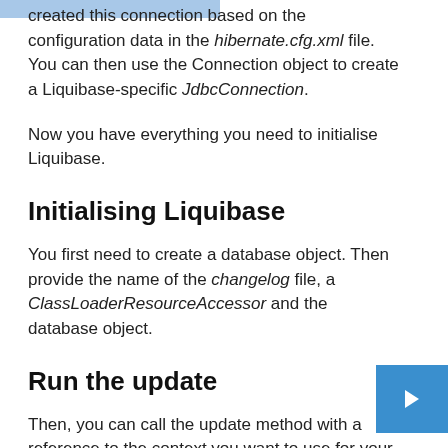created this connection based on the configuration data in the hibernate.cfg.xml file. You can then use the Connection object to create a Liquibase-specific JdbcConnection.
Now you have everything you need to initialise Liquibase.
Initialising Liquibase
You first need to create a database object. Then provide the name of the changelog file, a ClassLoaderResourceAccessor and the database object.
Run the update
Then, you can call the update method with a reference to the context you want to use for your database update. After you've updated your database, you can follow Hibernate's standard bootstrapping process. You therefore use the